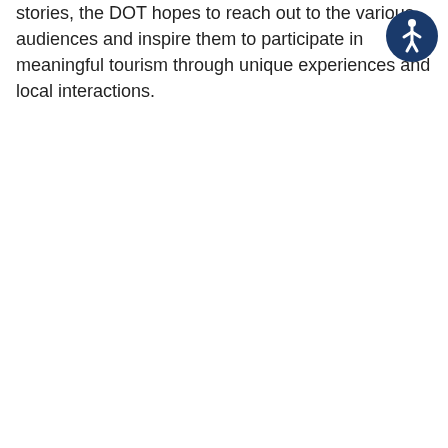stories, the DOT hopes to reach out to the various audiences and inspire them to participate in meaningful tourism through unique experiences and local interactions.
[Figure (illustration): Accessibility icon — a white stick figure on a dark blue circular background, representing a person in motion (universal accessibility symbol)]